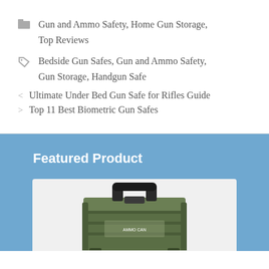Gun and Ammo Safety, Home Gun Storage, Top Reviews
Bedside Gun Safes, Gun and Ammo Safety, Gun Storage, Handgun Safe
< Ultimate Under Bed Gun Safe for Rifles Guide
> Top 11 Best Biometric Gun Safes
Featured Product
[Figure (photo): Green military-style ammo can with black handle, featured product image]